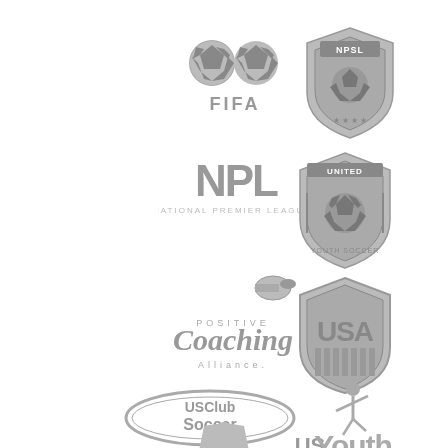[Figure (logo): FIFA logo - two soccer balls with FIFA text, grayscale]
[Figure (logo): NPSL (National Premier Soccer League) shield logo, grayscale]
[Figure (logo): NPL (National Premier League) logo with Ford sponsorship text, grayscale]
[Figure (logo): United Youth Soccer shield logo with soccer ball, grayscale]
[Figure (logo): Positive Coaching Alliance logo with whistle graphic, grayscale]
[Figure (logo): USA Soccer shield/crest logo, grayscale]
[Figure (logo): US Club Soccer oval logo, grayscale]
[Figure (logo): US Youth Soccer logo with figure kicking ball, grayscale]
[Figure (logo): Partially visible logo at bottom center, grayscale]